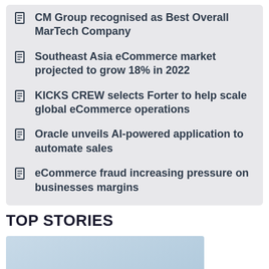CM Group recognised as Best Overall MarTech Company
Southeast Asia eCommerce market projected to grow 18% in 2022
KICKS CREW selects Forter to help scale global eCommerce operations
Oracle unveils AI-powered application to automate sales
eCommerce fraud increasing pressure on businesses margins
TOP STORIES
[Figure (photo): A person holding white puzzle pieces against a light blue background]